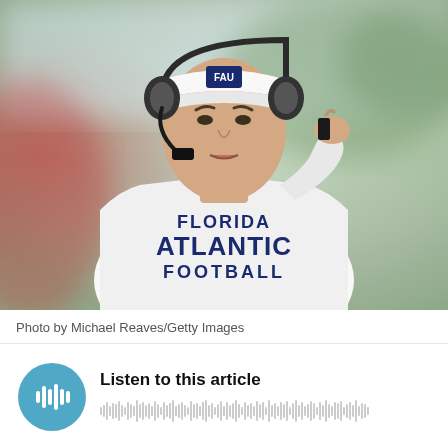[Figure (photo): A football coach wearing a white Florida Atlantic Football shirt and white FAU visor with headset, holding a microphone/communication device to his mouth, photographed on the sideline during a game. Background is blurred with green and red tones.]
Photo by Michael Reaves/Getty Images
Listen to this article